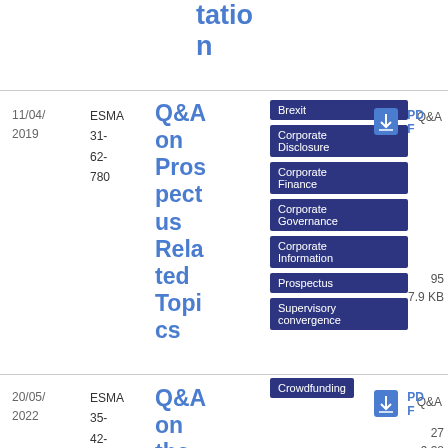tation
| Date | Reference | Title | Tags | Type | Download |
| --- | --- | --- | --- | --- | --- |
| 11/04/
2019 | ESMA
31-
62-
780 | Q&A on Prospectus Related Topics | Brexit, Corporate Disclosure, Corporate Finance, Corporate Governance, Corporate Information, Prospectus, Supervisory convergence | Q&A | PDF
95
7.9 KB |
| 20/05/
2022 | ESMA
35-
42-
1088 | Q&A on the Euro... | Crowdfunding | Q&A | PDF
27
9.38 |